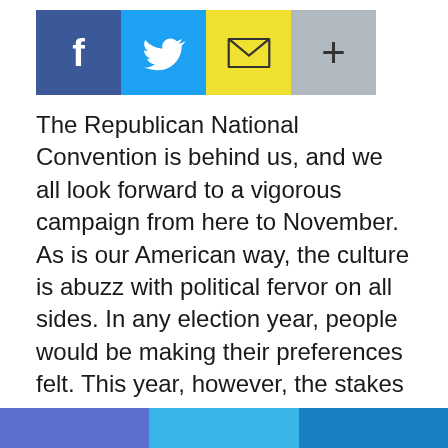[Figure (other): Social sharing buttons row: Facebook (blue), Twitter (cyan), Email (yellow), Plus/More (gray)]
The Republican National Convention is behind us, and we all look forward to a vigorous campaign from here to November. As is our American way, the culture is abuzz with political fervor on all sides. In any election year, people would be making their preferences felt. This year, however, the stakes feel higher.
Those higher stakes are bringing out people on all sides, for better or worse.
We look out at our country, and things are dire. Governors shut down their economies, leading to dire effects. Schools which should have…